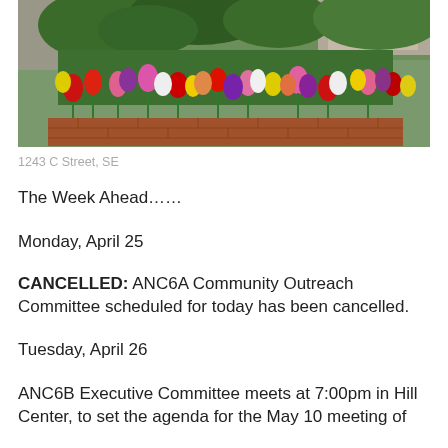[Figure (photo): Colorful tulip garden in a raised brick planter with red, pink, yellow, purple and white tulips in bloom, with green trees and a building in the background.]
1243 C Street, SE
The Week Ahead……
Monday, April 25
CANCELLED:  ANC6A Community Outreach Committee scheduled for today has been cancelled.
Tuesday, April 26
ANC6B Executive Committee meets at 7:00pm in Hill Center, to set the agenda for the May 10 meeting of